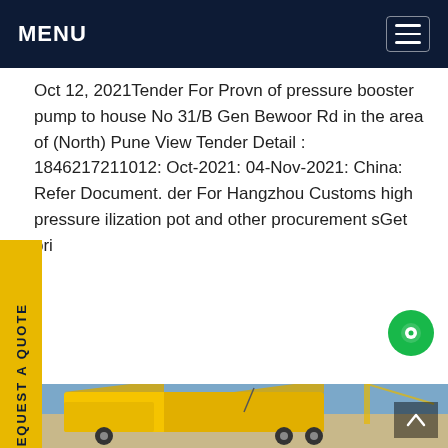MENU
Oct 12, 2021Tender For Provn of pressure booster pump to house No 31/B Gen Bewoor Rd in the area of (North) Pune View Tender Detail : 1846217211012: Oct-2021: 04-Nov-2021: China: Refer Document. der For Hangzhou Customs high pressure ilization pot and other procurement sGet pri
[Figure (photo): Yellow industrial/service truck with open side panels parked at a worksite, with construction equipment visible in the background and blue sky above.]